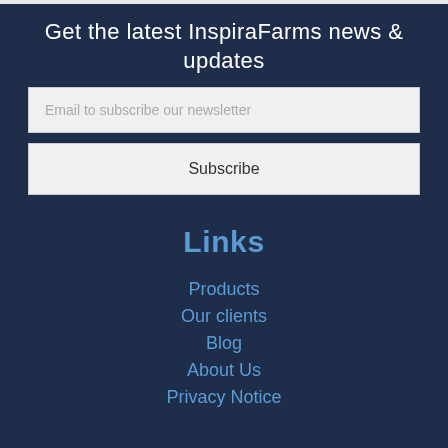Get the latest InspiraFarms news & updates
Email to subscribe our newsletter
Subscribe
Links
Products
Our clients
Blog
About Us
Privacy Notice